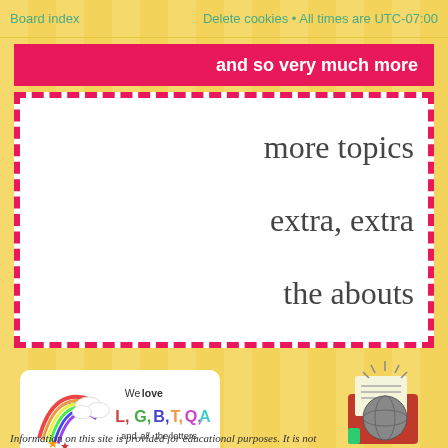Board index    Delete cookies • All times are UTC-07:00
and so very much more
more topics
extra, extra
the abouts
[Figure (logo): We love L, G, B, T, Q, A and all the letters - LGBTQA rainbow badge]
[Figure (illustration): News/mail envelope illustration with a globe and documents]
Information on this site is provided for educational purposes. It is not